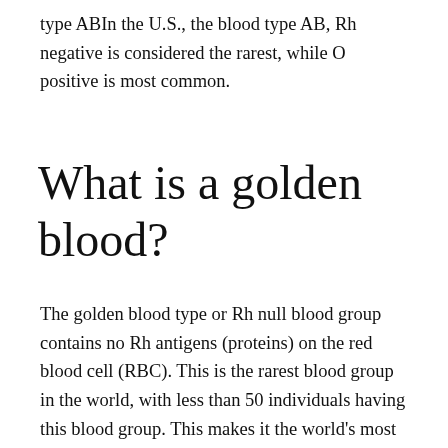type ABIn the U.S., the blood type AB, Rh negative is considered the rarest, while O positive is most common.
What is a golden blood?
The golden blood type or Rh null blood group contains no Rh antigens (proteins) on the red blood cell (RBC). This is the rarest blood group in the world, with less than 50 individuals having this blood group. This makes it the world's most precious blood type, hence the name golden